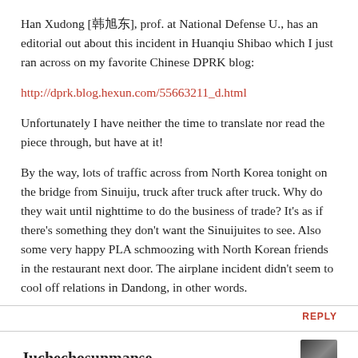Han Xudong [韩旭东], prof. at National Defense U., has an editorial out about this incident in Huanqiu Shibao which I just ran across on my favorite Chinese DPRK blog:
http://dprk.blog.hexun.com/55663211_d.html
Unfortunately I have neither the time to translate nor read the piece through, but have at it!
By the way, lots of traffic across from North Korea tonight on the bridge from Sinuiju, truck after truck after truck. Why do they wait until nighttime to do the business of trade? It's as if there's something they don't want the Sinuijuites to see. Also some very happy PLA schmoozing with North Korean friends in the restaurant next door. The airplane incident didn't seem to cool off relations in Dandong, in other words.
REPLY
Juchechosunmanse